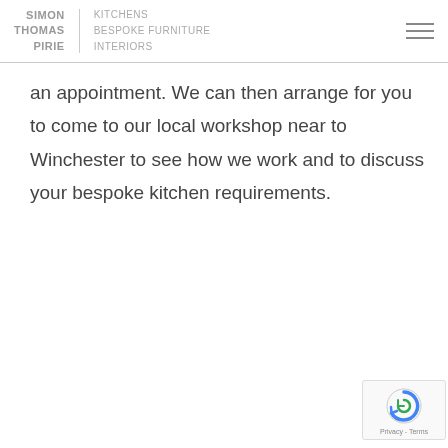SIMON THOMAS PIRIE | KITCHENS BESPOKE FURNITURE INTERIORS
an appointment. We can then arrange for you to come to our local workshop near to Winchester to see how we work and to discuss your bespoke kitchen requirements.
[Figure (logo): reCAPTCHA badge with Privacy and Terms links]